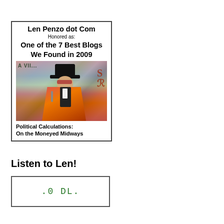[Figure (other): Award badge for Len Penzo dot Com, 'Honored as: One of the 7 Best Blogs We Found in 2009', with a carnival photo of a man in a top hat and orange cape, attributed to Political Calculations: On the Moneyed Midways]
Listen to Len!
[Figure (screenshot): Partial view of an embedded audio or widget player, showing partial text '...0 DL...' in green monospace font]